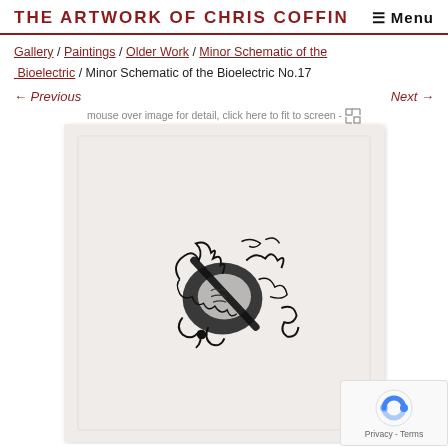THE ARTWORK OF CHRIS COFFIN  ≡ Menu
Gallery / Paintings / Older Work / Minor Schematic of the Bioelectric / Minor Schematic of the Bioelectric No.17
← Previous   Next →
mouse over image for detail, click here to fit to screen -
[Figure (photo): Artwork photo: Minor Schematic of the Bioelectric No.17 — a piece of textured light paper with a small abstract black ink drawing in the center, featuring gestural marks, shapes, and schematic-like elements.]